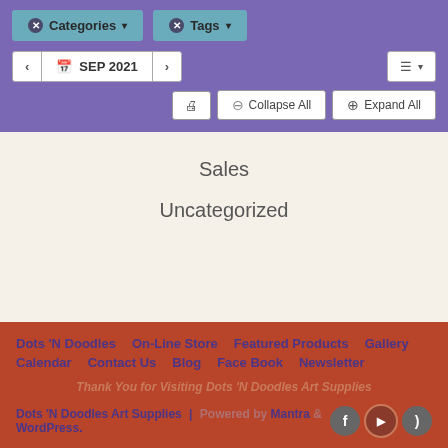[Figure (screenshot): Purple calendar/filter widget header with Categories and Tags filter buttons, SEP 2021 navigation, and Collapse All / Expand All controls]
Sales
Uncategorized
Dots 'N Doodles  On-Line Store  Featured Products  Gallery  Calendar  Contact Us  Blog  Face Book  Newsletter
Thank You for Visiting Dots 'N Doodles Art Supplies
Dots 'N Doodles Art Supplies | Powered by Mantra & WordPress.